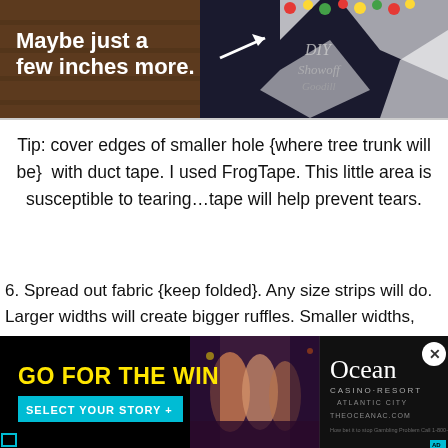[Figure (photo): Banner advertisement or blog header image showing a rug/floor scene with text 'Maybe just a few inches more.' and an arrow graphic, with 'DIY Showoff' text on the right side.]
Tip: cover edges of smaller hole {where tree trunk will be}  with duct tape. I used FrogTape. This little area is susceptible to tearing…tape will help prevent tears.
6. Spread out fabric {keep folded}. Any size strips will do. Larger widths will create bigger ruffles. Smaller widths, smaller/more ruffles. I decided on small 4 1/2 inch wide strips. I marked the fabric and cut my strips (no need to be a perfectionist about perfectly straight strips but keep as straight as possible). Length doesn't matter. Most of my fabric was 54" wide, but one of my fabrics had a smaller width.
[Figure (photo): Advertisement for Ocean Casino Resort Atlantic City with black background. Left side shows 'GO FOR THE WIN' in yellow bold text and a cyan 'SELECT YOUR STORY +' button. Center shows people at a casino. Right side shows Ocean Casino Resort logo and theoceanac.com URL.]